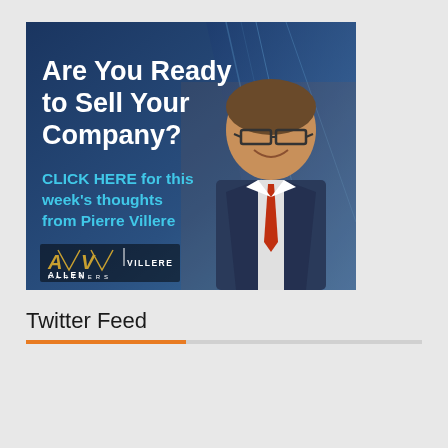[Figure (advertisement): Advertisement for Allen Villere Partners featuring a smiling man in a suit. Text reads: 'Are You Ready to Sell Your Company? CLICK HERE for this week's thoughts from Pierre Villere' with Allen Villere Partners logo at the bottom.]
Twitter Feed